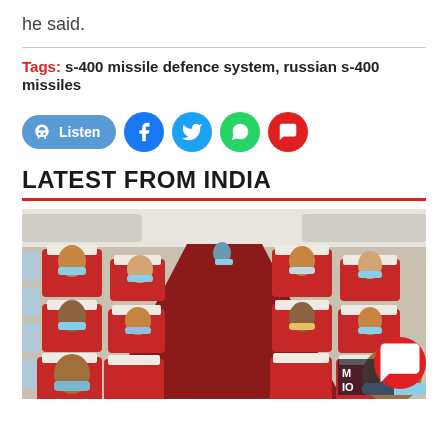he said.
Tags: s-400 missile defence system, russian s-400 missiles
[Figure (infographic): Social sharing bar with Listen button, Facebook, Twitter, WhatsApp, and comment icons]
LATEST FROM INDIA
[Figure (photo): Interior of an airplane cabin filled with passengers wearing face masks, seated in red seats]